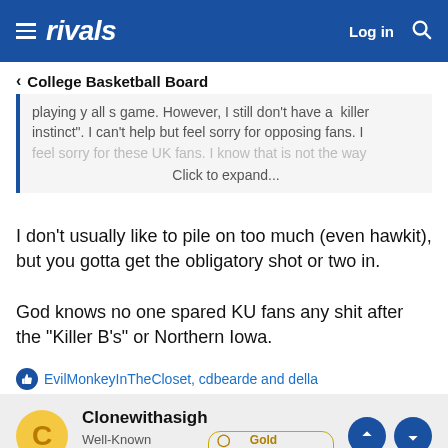rivals — Log in
< College Basketball Board
playing y all s game. However, I still don't have a  killer instinct". I can't help but feel sorry for opposing fans. I feel sorry for these UK fans. I know that is not the way... Click to expand...
I don't usually like to pile on too much (even hawkit), but you gotta get the obligatory shot or two in.

God knows no one spared KU fans any shit after the "Killer B's" or Northern Iowa.
EvilMonkeyInTheCloset, cdbearde and della
Clonewithasigh
Well-Known Member  Gold Member